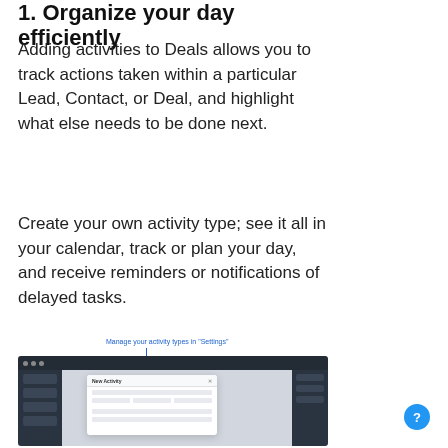1. Organize your day efficiently
Adding activities to Deals allows you to track actions taken within a particular Lead, Contact, or Deal, and highlight what else needs to be done next.
Create your own activity type; see it all in your calendar, track or plan your day, and receive reminders or notifications of delayed tasks.
[Figure (screenshot): Screenshot of a CRM interface showing a 'New Activity' modal dialog, with a callout label reading 'Manage your activity types in "Settings"']